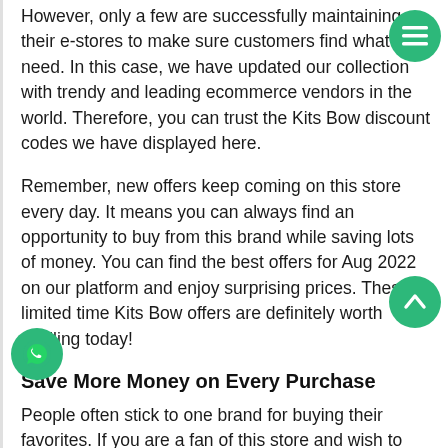However, only a few are successfully maintaining their e-stores to make sure customers find what they need. In this case, we have updated our collection with trendy and leading ecommerce vendors in the world. Therefore, you can trust the Kits Bow discount codes we have displayed here.
Remember, new offers keep coming on this store every day. It means you can always find an opportunity to buy from this brand while saving lots of money. You can find the best offers for Aug 2022 on our platform and enjoy surprising prices. These limited time Kits Bow offers are definitely worth availing today!
Save More Money on Every Purchase
People often stick to one brand for buying their favorites. If you are a fan of this store and wish to buy from it without breaking the bank, save Couponado in your bookmarks. Do not miss this chance to save big on every purchase. We suggest our fans to stop